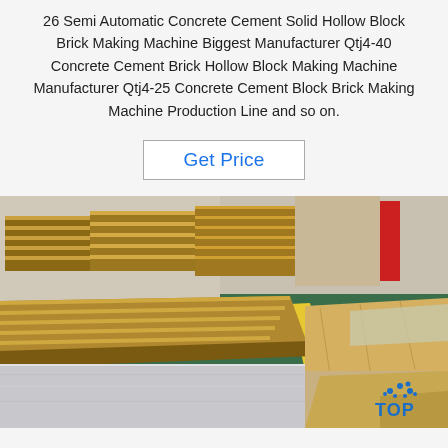26 Semi Automatic Concrete Cement Solid Hollow Block Brick Making Machine Biggest Manufacturer Qtj4-40 Concrete Cement Brick Hollow Block Making Machine Manufacturer Qtj4-25 Concrete Cement Block Brick Making Machine Production Line and so on.
Get Price
[Figure (photo): Warehouse interior showing stacked wooden pallets with sheet materials and metal sheets on a green floor, with a 'TOP' logo visible in the lower right corner.]